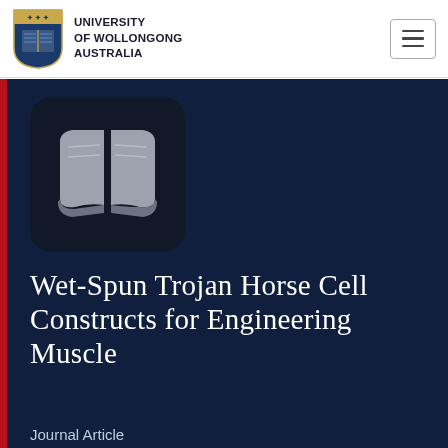UNIVERSITY OF WOLLONGONG AUSTRALIA
[Figure (logo): University of Wollongong shield crest logo in blue and gold]
[Figure (illustration): Open book icon on dark rounded square background]
Wet-Spun Trojan Horse Cell Constructs for Engineering Muscle
Journal Article